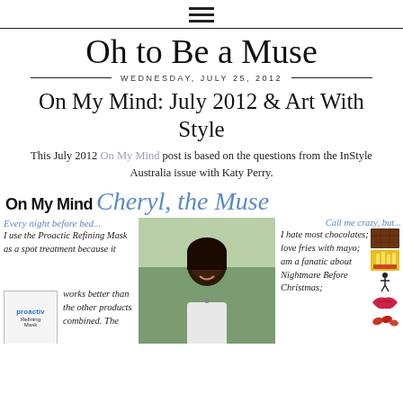☰
Oh to Be a Muse
WEDNESDAY, JULY 25, 2012
On My Mind: July 2012 & Art With Style
This July 2012 On My Mind post is based on the questions from the InStyle Australia issue with Katy Perry.
[Figure (infographic): Blog collage graphic showing 'On My Mind Cheryl, the Muse' with personal text snippets about nightly skincare routine (Proactiv Refining Mask), a center portrait photo of a smiling woman with sunglasses outdoors, and right column text 'Call me crazy, but... I hate most chocolates; love fries with mayo; am a fanatic about Nightmare Before Christmas;' with food images (chocolate, fries, lips, skeleton, peanuts icons).]